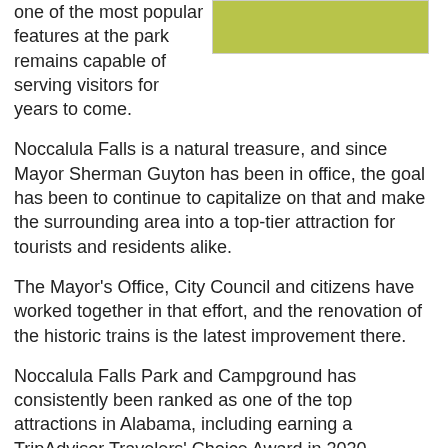[Figure (photo): Green outdoor scene, likely grassy area at Noccalula Falls Park]
one of the most popular features at the park remains capable of serving visitors for years to come.
Noccalula Falls is a natural treasure, and since Mayor Sherman Guyton has been in office, the goal has been to continue to capitalize on that and make the surrounding area into a top-tier attraction for tourists and residents alike.
The Mayor's Office, City Council and citizens have worked together in that effort, and the renovation of the historic trains is the latest improvement there.
Noccalula Falls Park and Campground has consistently been ranked as one of the top attractions in Alabama, including earning a TripAdvisor Travelers' Choice Award in 2020.
The City has a long history of working with the community to improve the Park. In 2007, the City entered into an agreement with the Noccalula Improvement Association to take over the annual light display that has become Christmas at the Falls.